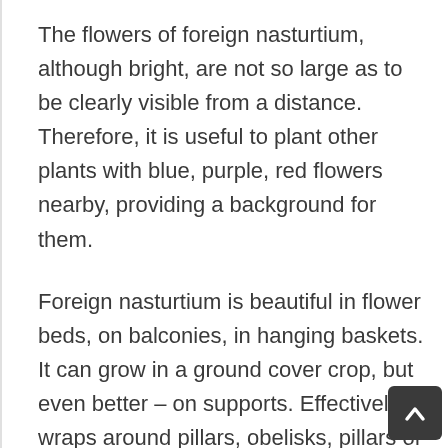The flowers of foreign nasturtium, although bright, are not so large as to be clearly visible from a distance. Therefore, it is useful to plant other plants with blue, purple, red flowers nearby, providing a background for them.
Foreign nasturtium is beautiful in flower beds, on balconies, in hanging baskets. It can grow in a ground cover crop, but even better – on supports. Effectively wraps around pillars, obelisks, pillars of arbors, fences and trellises. The best and most comfortable for her are thin supports.
The carved, rounded leaves are